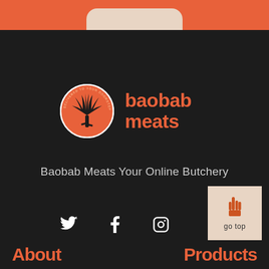[Figure (logo): Orange top bar with rounded pill shape at bottom center]
[Figure (logo): Baobab Meats logo: circular orange badge with baobab tree silhouette, next to orange bold text 'baobab meats']
Baobab Meats Your Online Butchery
[Figure (infographic): Social media icons: Twitter bird, Facebook f, Instagram camera outline]
[Figure (infographic): Go top button: beige/tan square with hand pointing up icon and text 'go top']
About
Products